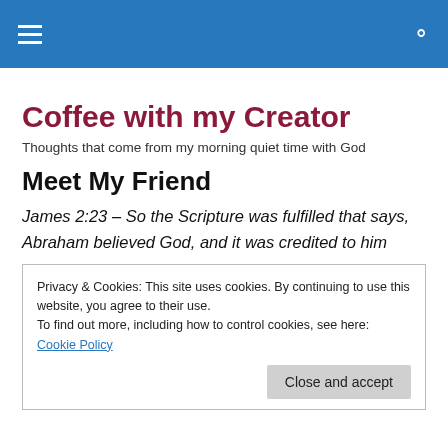Coffee with my Creator — navigation header bar
Coffee with my Creator
Thoughts that come from my morning quiet time with God
Meet My Friend
James 2:23 – So the Scripture was fulfilled that says, Abraham believed God, and it was credited to him
Privacy & Cookies: This site uses cookies. By continuing to use this website, you agree to their use.
To find out more, including how to control cookies, see here: Cookie Policy
Close and accept
I have of all my coffee sharing of frinds has been consumed and